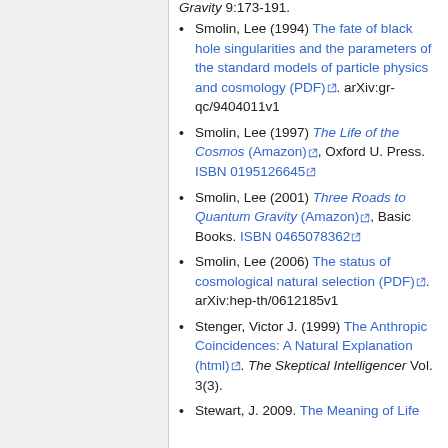Gravity 9:173-191.
Smolin, Lee (1994) The fate of black hole singularities and the parameters of the standard models of particle physics and cosmology (PDF). arXiv:gr-qc/9404011v1
Smolin, Lee (1997) The Life of the Cosmos (Amazon), Oxford U. Press. ISBN 0195126645
Smolin, Lee (2001) Three Roads to Quantum Gravity (Amazon), Basic Books. ISBN 0465078362
Smolin, Lee (2006) The status of cosmological natural selection (PDF). arXiv:hep-th/0612185v1
Stenger, Victor J. (1999) The Anthropic Coincidences: A Natural Explanation (html). The Skeptical Intelligencer Vol. 3(3).
Stewart, J. 2009. The Meaning of Life